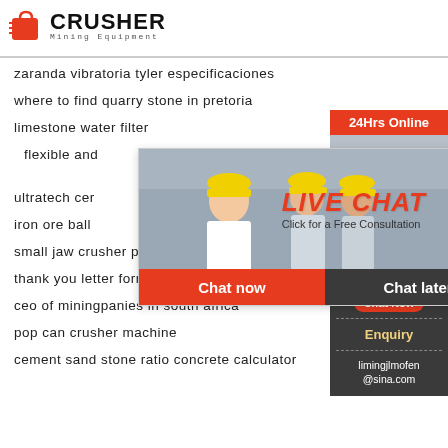[Figure (logo): Crusher Mining Equipment logo with red shopping bag icon and bold black CRUSHER text]
zaranda vibratoria tyler especificaciones
where to find quarry stone in pretoria
limestone water filter
flexible and
ultratech cer
iron ore ball
small jaw crusher price malaysia
thank you letter formats free event
ceo of miningpanies in south africa
pop can crusher machine
cement sand stone ratio concrete calculator
[Figure (screenshot): Live Chat popup overlay with workers in hard hats, LIVE CHAT text in red italic, Click for a Free Consultation subtitle, Chat now and Chat later buttons]
[Figure (photo): Right sidebar with 24Hrs Online banner, customer service agent photo, Need questions & suggestion chat now button, Enquiry section, and limingjlmofen@sina.com email]